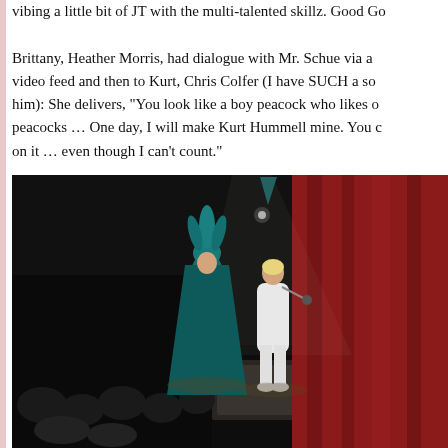vibing a little bit of JT with the multi-talented skillz. Good Go... Brittany, Heather Morris, had dialogue with Mr. Schue via a video feed and then to Kurt, Chris Colfer (I have SUCH a soft spot for him): She delivers, "You look like a boy peacock who likes other peacocks … One day, I will make Kurt Hummell mine. You can count on it … even though I can't count."
[Figure (photo): Two performers on a darkened stage. Left performer wears a teal/blue feathered costume. Right performer wears a white outfit and holds a microphone. Red curtains visible on the right side of the stage. Audience visible in the lower left.]